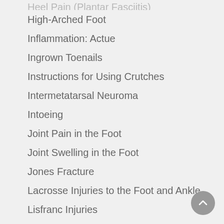High-Arched Foot
Inflammation: Actue
Ingrown Toenails
Instructions for Using Crutches
Intermetatarsal Neuroma
Intoeing
Joint Pain in the Foot
Joint Swelling in the Foot
Jones Fracture
Lacrosse Injuries to the Foot and Ankle
Lisfranc Injuries